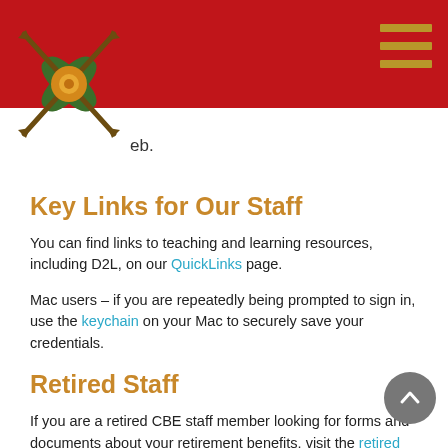CBE website header with logo and navigation menu
eb.
Key Links for Our Staff
You can find links to teaching and learning resources, including D2L, on our QuickLinks page.
Mac users – if you are repeatedly being prompted to sign in, use the keychain on your Mac to securely save your credentials.
Retired Staff
If you are a retired CBE staff member looking for forms and documents about your retirement benefits, visit the retired staff page on the CBE website.
Former Staff
If you are a former staff member and need to reach the CBE to update your records, contact the Employee Contact Centre at 403-